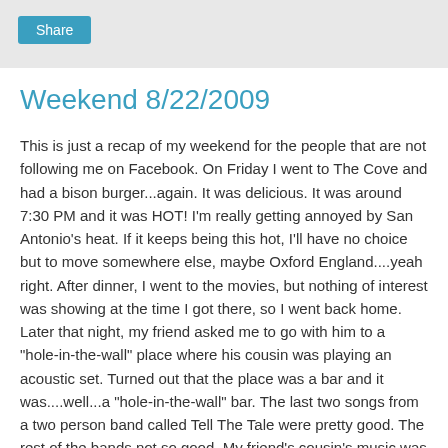Share
Weekend 8/22/2009
This is just a recap of my weekend for the people that are not following me on Facebook. On Friday I went to The Cove and had a bison burger...again. It was delicious. It was around 7:30 PM and it was HOT! I'm really getting annoyed by San Antonio's heat. If it keeps being this hot, I'll have no choice but to move somewhere else, maybe Oxford England....yeah right. After dinner, I went to the movies, but nothing of interest was showing at the time I got there, so I went back home. Later that night, my friend asked me to go with him to a "hole-in-the-wall" place where his cousin was playing an acoustic set. Turned out that the place was a bar and it was....well...a "hole-in-the-wall" bar. The last two songs from a two person band called Tell The Tale were pretty good. The rest of the bands not so good. My friend's cousin's music was eclectic, interesting stuff, maybe the kind of music that grows on you. After that, I went to my friends house